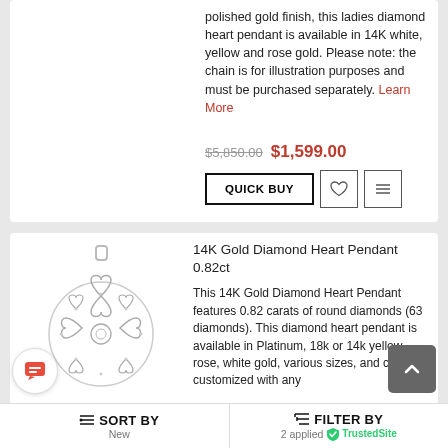polished gold finish, this ladies diamond heart pendant is available in 14K white, yellow and rose gold. Please note: the chain is for illustration purposes and must be purchased separately. Learn More
$5,850.00  $1,599.00
[Figure (screenshot): QUICK BUY button with heart and compare icons]
[Figure (photo): 14K Gold Diamond Heart Pendant shaped like a floral/heart cluster in white gold]
14K Gold Diamond Heart Pendant 0.82ct
This 14K Gold Diamond Heart Pendant features 0.82 carats of round diamonds (63 diamonds). This diamond heart pendant is available in Platinum, 18k or 14k yellow, rose, white gold, various sizes, and can be customized with any
SORT BY  New    FILTER BY  2 applied  TrustedSite